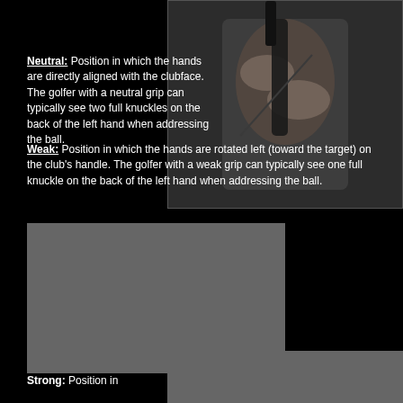[Figure (photo): Close-up photo of hands gripping a golf club, dark background, top-right of page]
Neutral: Position in which the hands are directly aligned with the clubface. The golfer with a neutral grip can typically see two full knuckles on the back of the left hand when addressing the ball.
Weak: Position in which the hands are rotated left (toward the target) on the club's handle. The golfer with a weak grip can typically see one full knuckle on the back of the left hand when addressing the ball.
[Figure (photo): Gray photo placeholder, bottom-left area of page]
[Figure (photo): Partial gray photo, bottom-right corner]
Strong: Position in